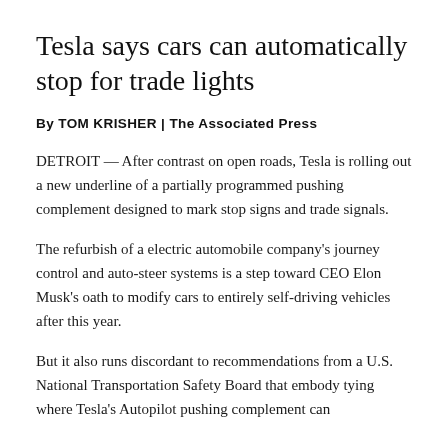Tesla says cars can automatically stop for trade lights
By TOM KRISHER | The Associated Press
DETROIT — After contrast on open roads, Tesla is rolling out a new underline of a partially programmed pushing complement designed to mark stop signs and trade signals.
The refurbish of a electric automobile company's journey control and auto-steer systems is a step toward CEO Elon Musk's oath to modify cars to entirely self-driving vehicles after this year.
But it also runs discordant to recommendations from a U.S. National Transportation Safety Board that embody tying where Tesla's Autopilot pushing complement can